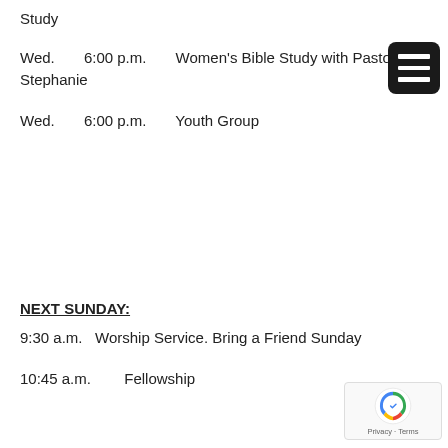Study
Wed.    6:00 p.m.    Women's Bible Study with Pastor Stephanie
Wed.    6:00 p.m.    Youth Group
NEXT SUNDAY:
9:30 a.m.   Worship Service. Bring a Friend Sunday
10:45 a.m.    Fellowship